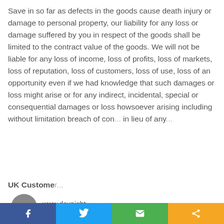Save in so far as defects in the goods cause death injury or damage to personal property, our liability for any loss or damage suffered by you in respect of the goods shall be limited to the contract value of the goods. We will not be liable for any loss of income, loss of profits, loss of markets, loss of reputation, loss of customers, loss of use, loss of an opportunity even if we had knowledge that such damages or loss might arise or for any indirect, incidental, special or consequential damages or loss howsoever arising including without limitation breach of con... in lieu of any...
UK Custome... www.daynigh... residing in th... from internat...
This website uses cookies to improve your experience. We'll assume you're ok with this, but you can opt-out if you wish. Cookie settings ACCEPT